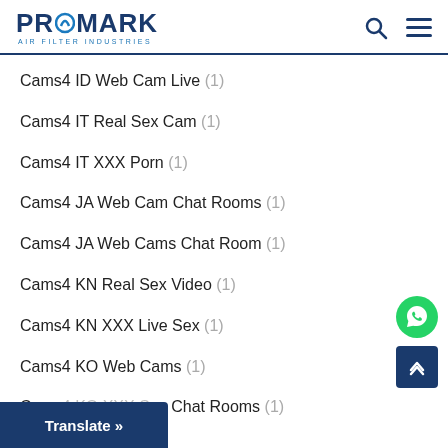PROMARK AIR FILTER INDUSTRIES
Cams4 ID Web Cam Live (1)
Cams4 IT Real Sex Cam (1)
Cams4 IT XXX Porn (1)
Cams4 JA Web Cam Chat Rooms (1)
Cams4 JA Web Cams Chat Room (1)
Cams4 KN Real Sex Video (1)
Cams4 KN XXX Live Sex (1)
Cams4 KO Web Cams (1)
Cams4 KO XXX Sex Chat Rooms (1)